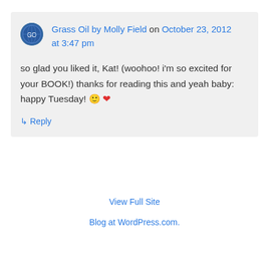Grass Oil by Molly Field on October 23, 2012 at 3:47 pm
so glad you liked it, Kat! (woohoo! i'm so excited for your BOOK!) thanks for reading this and yeah baby: happy Tuesday! 🙂 ❤
↳ Reply
View Full Site
Blog at WordPress.com.